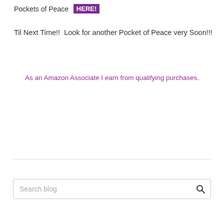Pockets of Peace HERE!
Til Next Time!!  Look for another Pocket of Peace very Soon!!!
As an Amazon Associate I earn from qualifying purchases.
Search blog